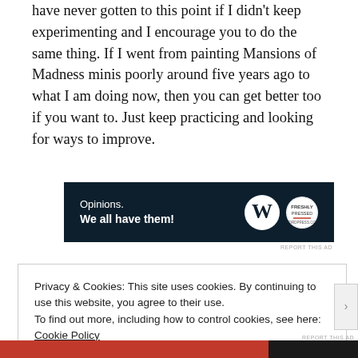have never gotten to this point if I didn't keep experimenting and I encourage you to do the same thing. If I went from painting Mansions of Madness minis poorly around five years ago to what I am doing now, then you can get better too if you want to. Just keep practicing and looking for ways to improve.
[Figure (other): Advertisement banner with dark navy background. Text reads 'Opinions. We all have them!' with WordPress logo and a circular Freshly logo on the right.]
REPORT THIS AD
Privacy & Cookies: This site uses cookies. By continuing to use this website, you agree to their use.
To find out more, including how to control cookies, see here:
Cookie Policy
Close and accept